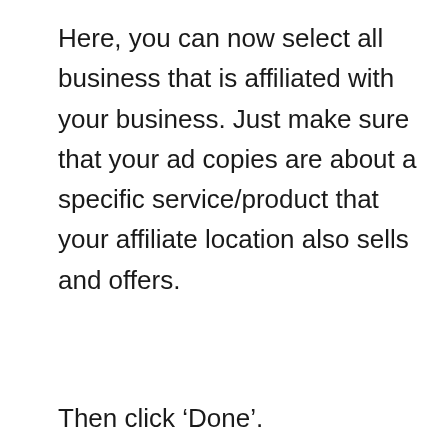Here, you can now select all business that is affiliated with your business. Just make sure that your ad copies are about a specific service/product that your affiliate location also sells and offers.
Then click ‘Done’.